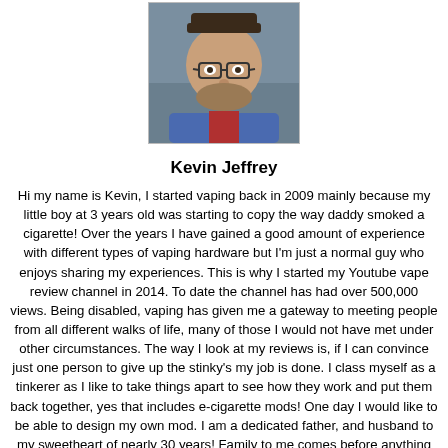[Figure (photo): Profile photo of Kevin Jeffrey, a man wearing glasses and a cap, with a beard, dressed in a blue hoodie.]
Kevin Jeffrey
Hi my name is Kevin, I started vaping back in 2009 mainly because my little boy at 3 years old was starting to copy the way daddy smoked a cigarette! Over the years I have gained a good amount of experience with different types of vaping hardware but I'm just a normal guy who enjoys sharing my experiences. This is why I started my Youtube vape review channel in 2014. To date the channel has had over 500,000 views. Being disabled, vaping has given me a gateway to meeting people from all different walks of life, many of those I would not have met under other circumstances. The way I look at my reviews is, if I can convince just one person to give up the stinky's my job is done. I class myself as a tinkerer as I like to take things apart to see how they work and put them back together, yes that includes e-cigarette mods! One day I would like to be able to design my own mod. I am a dedicated father, and husband to my sweetheart of nearly 30 years! Family to me comes before anything else.